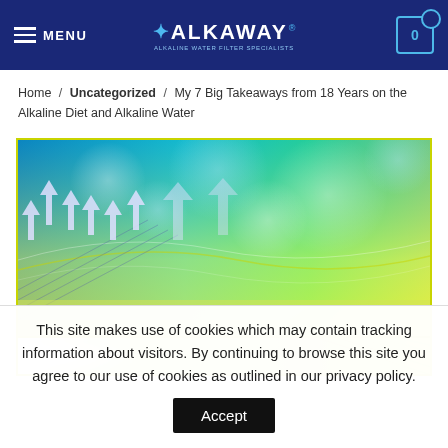MENU | ALKAWAY | ALKALINE WATER FILTER SPECIALISTS | 0
Home / Uncategorized / My 7 Big Takeaways from 18 Years on the Alkaline Diet and Alkaline Water
[Figure (illustration): Banner image with blue-to-yellow-green gradient background, upward-pointing arrows and light bokeh circles — top portion visible, second strip beginning at bottom]
This site makes use of cookies which may contain tracking information about visitors. By continuing to browse this site you agree to our use of cookies as outlined in our privacy policy.